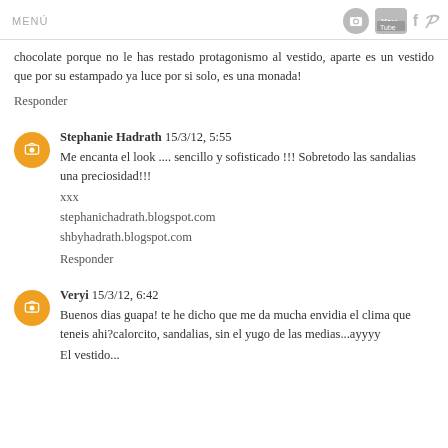MENÚ
chocolate porque no le has restado protagonismo al vestido, aparte es un vestido que por su estampado ya luce por si solo, es una monada!
Responder
Stephanie Hadrath 15/3/12, 5:55
Me encanta el look .... sencillo y sofisticado !!! Sobretodo las sandalias una preciosidad!!!
xxx
stephanichadrath.blogspot.com
shbyhadrath.blogspot.com
Responder
Veryi 15/3/12, 6:42
Buenos dias guapa! te he dicho que me da mucha envidia el clima que teneis ahi?calorcito, sandalias, sin el yugo de las medias...ayyyy El vestido...